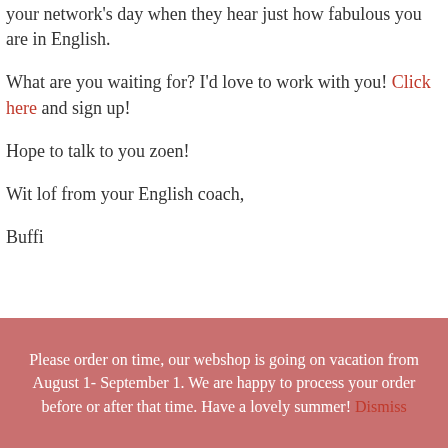your network's day when they hear just how fabulous you are in English.
What are you waiting for? I'd love to work with you! Click here and sign up!
Hope to talk to you zoen!
Wit lof from your English coach,
Buffi
Please order on time, our webshop is going on vacation from August 1- September 1. We are happy to process your order before or after that time. Have a lovely summer! Dismiss